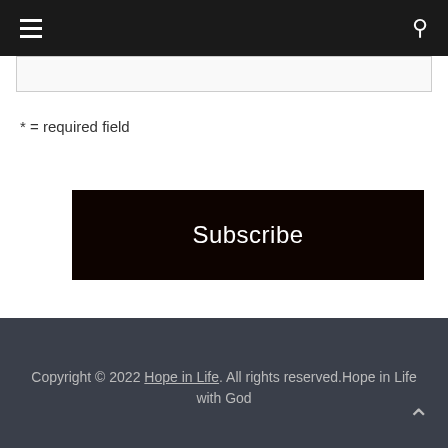≡  🔍
* = required field
Subscribe
powered by MailChimp!
Copyright © 2022 Hope in Life. All rights reserved.Hope in Life with God